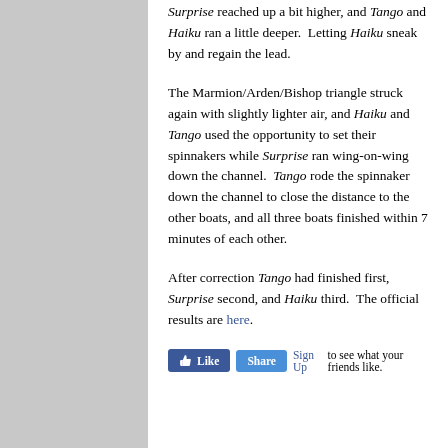Surprise reached up a bit higher, and Tango and Haiku ran a little deeper. Letting Haiku sneak by and regain the lead.
The Marmion/Arden/Bishop triangle struck again with slightly lighter air, and Haiku and Tango used the opportunity to set their spinnakers while Surprise ran wing-on-wing down the channel. Tango rode the spinnaker down the channel to close the distance to the other boats, and all three boats finished within 7 minutes of each other.
After correction Tango had finished first, Surprise second, and Haiku third. The official results are here.
[Figure (other): Facebook Like and Share buttons followed by Sign Up link and text 'to see what your friends like.']